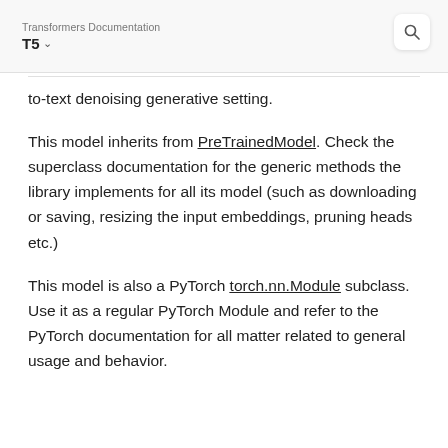Transformers Documentation
T5
to-text denoising generative setting.
This model inherits from PreTrainedModel. Check the superclass documentation for the generic methods the library implements for all its model (such as downloading or saving, resizing the input embeddings, pruning heads etc.)
This model is also a PyTorch torch.nn.Module subclass. Use it as a regular PyTorch Module and refer to the PyTorch documentation for all matter related to general usage and behavior.